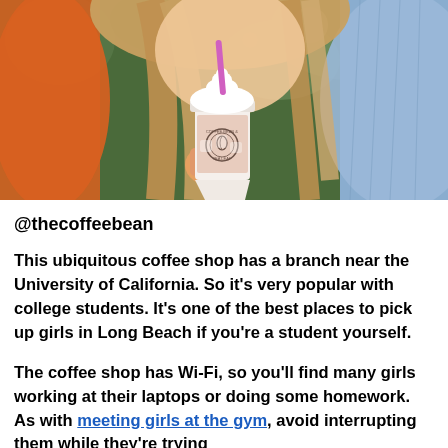[Figure (photo): Young woman with long blonde hair holding a Coffee Bean & Tea Leaf iced drink with whipped cream and a pink straw, wearing a denim jacket and orange top, outdoors with bokeh background.]
@thecoffeebean
This ubiquitous coffee shop has a branch near the University of California. So it's very popular with college students. It's one of the best places to pick up girls in Long Beach if you're a student yourself.
The coffee shop has Wi-Fi, so you'll find many girls working at their laptops or doing some homework. As with meeting girls at the gym, avoid interrupting them while they're trying